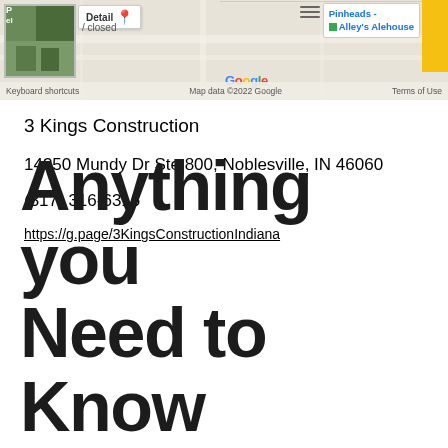[Figure (screenshot): Google Maps screenshot showing a partial map with a photo thumbnail, 'Detail closed' popup, Google logo, Pinheads - Alley's Alehouse label, keyboard shortcuts, and map data copyright notice.]
3 Kings Construction
14350 Mundy Dr Ste 800, Noblesville, IN 46060
(317) 316-6316
https://g.page/3KingsConstructionIndiana
Anything you Need to Know